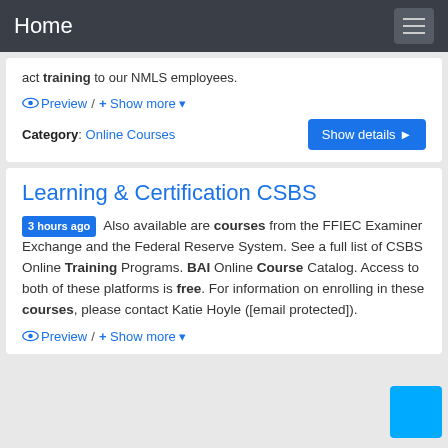Home
act training to our NMLS employees.
Preview / + Show more
Category: Online Courses
Learning & Certification CSBS
3 hours ago  Also available are courses from the FFIEC Examiner Exchange and the Federal Reserve System. See a full list of CSBS Online Training Programs. BAI Online Course Catalog. Access to both of these platforms is free. For information on enrolling in these courses, please contact Katie Hoyle ([email protected]).
Preview / + Show more